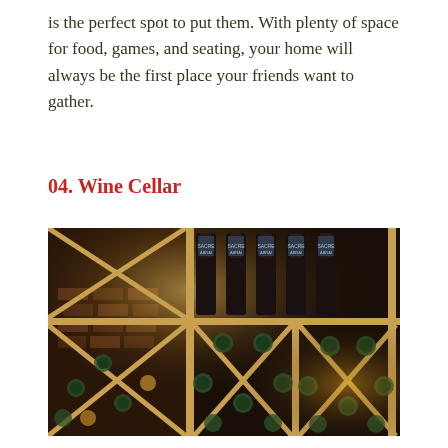is the perfect spot to put them. With plenty of space for food, games, and seating, your home will always be the first place your friends want to gather.
04. Wine Cellar
[Figure (photo): A wooden wine cellar rack with X-pattern dividers. The top section holds dark wine bottles standing upright with labels reading 'Sacre Abrai'. The lower sections show wine bottles stored horizontally with visible green bottoms, in a dim warm-lit cellar with brick walls visible in the background.]